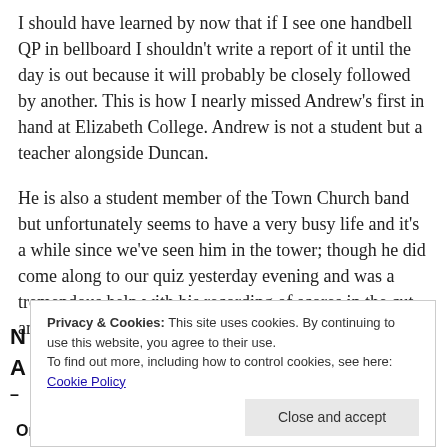I should have learned by now that if I see one handbell QP in bellboard I shouldn't write a report of it until the day is out because it will probably be closely followed by another. This is how I nearly missed Andrew's first in hand at Elizabeth College. Andrew is not a student but a teacher alongside Duncan.
He is also a student member of the Town Church band but unfortunately seems to have a very busy life and it's a while since we've seen him in the tower; though he did come along to our quiz yesterday evening and was a tremendous help with his recording of scores in the cut and thrust quiz.
Privacy & Cookies: This site uses cookies. By continuing to use this website, you agree to their use.
To find out more, including how to control cookies, see here: Cookie Policy
Close and accept
On Friday, 17 March 2017 in 42min